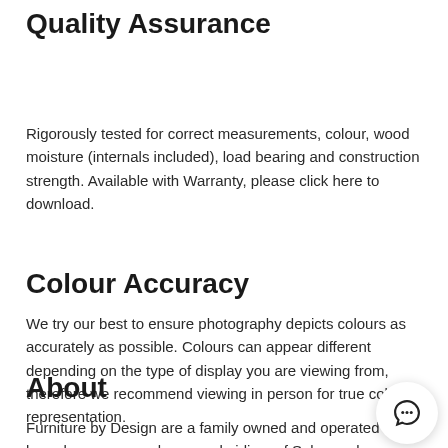Quality Assurance
Rigorously tested for correct measurements, colour, wood moisture (internals included), load bearing and construction strength. Available with Warranty, please click here to download.
Colour Accuracy
We try our best to ensure photography depicts colours as accurately as possible. Colours can appear different depending on the type of display you are viewing from, therefore we recommend viewing in person for true colour representation.
About
Furniture by Design are a family owned and operated based company and are a subsidiary of Salamander Importers. With over 30 years in the furniture business our